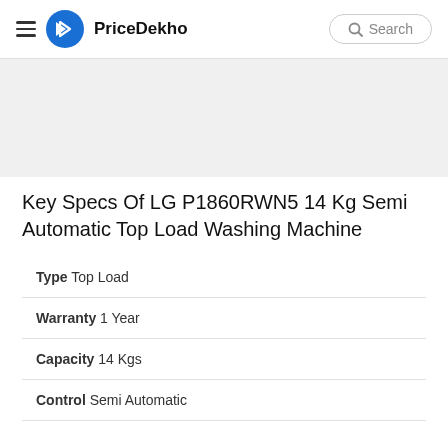PriceDekho | Search
Key Specs Of LG P1860RWN5 14 Kg Semi Automatic Top Load Washing Machine
| Spec | Value |
| --- | --- |
| Type | Top Load |
| Warranty | 1 Year |
| Capacity | 14 Kgs |
| Control | Semi Automatic |